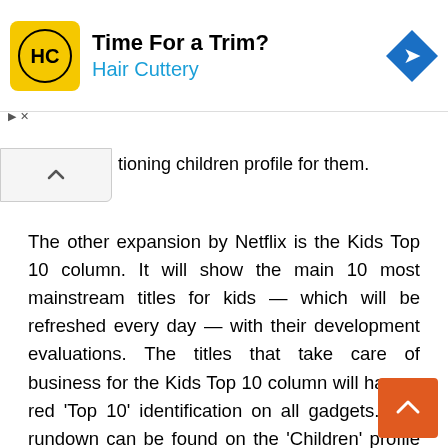[Figure (other): Hair Cuttery advertisement banner with yellow logo showing 'HC' text, headline 'Time For a Trim?' and blue subtitle 'Hair Cuttery', with a blue navigation/direction icon on the right]
tioning children profile for them.
The other expansion by Netflix is the Kids Top 10 column. It will show the main 10 most mainstream titles for kids — which will be refreshed every day — with their development evaluations. The titles that take care of business for the Kids Top 10 column will have a red 'Top 10' identification on all gadgets. The rundown can be found on the 'Children' profile landing page or in the 'New and Popular' area in the menu bar. The Kids Top 10 line is as of now live for clients in 93 nations.